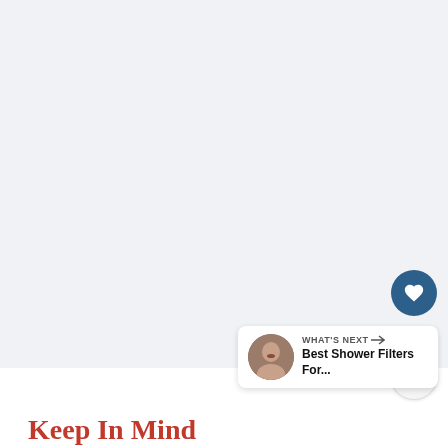[Figure (photo): Large white/light gray image area taking up most of the page — appears to be a nearly blank or very light photograph]
[Figure (infographic): Heart/like button (dark blue circle with white heart icon), count number 4, and share button (light circle with share icon)]
[Figure (photo): What's Next panel with a woman avatar and text: WHAT'S NEXT → Best Shower Filters For...]
Keep In Mind